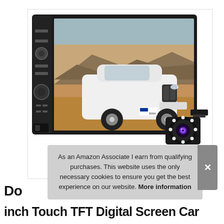[Figure (photo): A car head unit / double-DIN stereo with touchscreen showing a white BMW SUV on a desert road, with physical buttons and knob on the left side. A separate backup camera with LED ring is shown in the lower-right corner. The stereo screen displays text '7G10S'.]
As an Amazon Associate I earn from qualifying purchases. This website uses the only necessary cookies to ensure you get the best experience on our website. More information
Do
inch Touch TFT Digital Screen Car